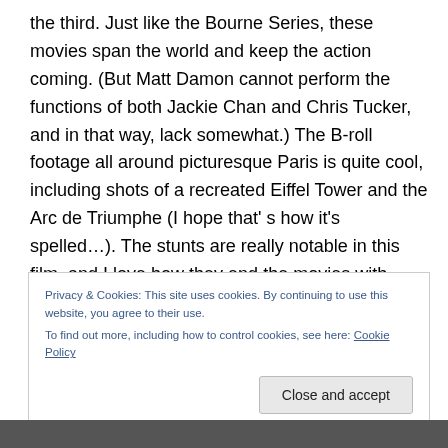the third. Just like the Bourne Series, these movies span the world and keep the action coming. (But Matt Damon cannot perform the functions of both Jackie Chan and Chris Tucker, and in that way, lack somewhat.) The B-roll footage all around picturesque Paris is quite cool, including shots of a recreated Eiffel Tower and the Arc de Triumphe (I hope that's how it's spelled…). The stunts are really notable in this film, and I love how they end the movies with bloopers of Jackie Chan hurting himself doing his own stunts.
Privacy & Cookies: This site uses cookies. By continuing to use this website, you agree to their use.
To find out more, including how to control cookies, see here: Cookie Policy
[Figure (photo): Partial image visible at the bottom of the page]